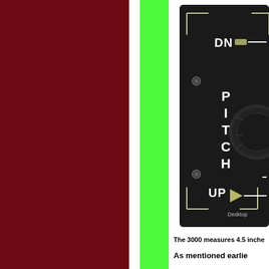[Figure (photo): A black instrument panel showing a PITCH control with DN (down) at top and UP at bottom, with a rotary dial/knob in the center-right area. Small indicator lights or screws visible. Text 'Desktop' partially visible at bottom right corner. The panel has corner marks at top-left and bottom-left.]
The 3000 measures 4.5 inche...
As mentioned earlie...